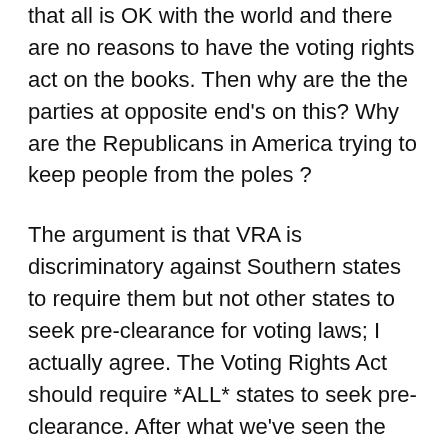that all is OK with the world and there are no reasons to have the voting rights act on the books. Then why are the the parties at opposite end's on this? Why are the Republicans in America trying to keep people from the poles ?
The argument is that VRA is discriminatory against Southern states to require them but not other states to seek pre-clearance for voting laws; I actually agree. The Voting Rights Act should require *ALL* states to seek pre-clearance. After what we've seen the GOP try to pass in states all across the nation prior to the last 2012 election, I see no reason this safeguard against voter suppression should be limited to just Southern states as suggested by VRA of 1965 but now should be expanded to